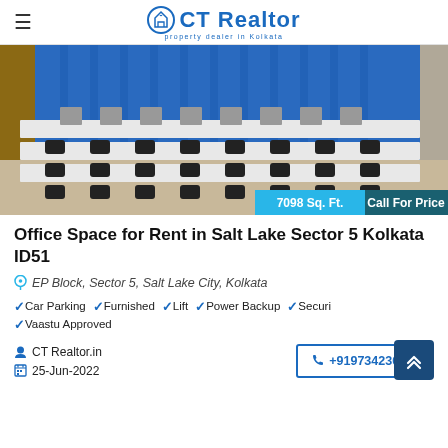CT Realtor — property dealer in Kolkata
[Figure (photo): Office space interior showing long rows of white workstations with grey dividers, black office chairs, and blue curtains in the background. Two overlay badges: '7098 Sq. Ft.' in cyan and 'Call For Price' in teal.]
Office Space for Rent in Salt Lake Sector 5 Kolkata ID51
EP Block, Sector 5, Salt Lake City, Kolkata
Car Parking
Furnished
Lift
Power Backup
Security
Vaastu Approved
CT Realtor.in
25-Jun-2022
+919734236920